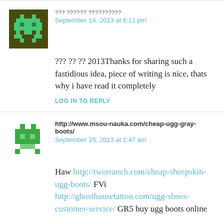[Figure (illustration): Pixel art avatar of a green space invader character on dark olive/brown background]
??? ?????? ?????????? September 14, 2013 at 6:11 pm
??? ?? ?? 2013Thanks for sharing such a fastidious idea, piece of writing is nice, thats why i have read it completely
LOG IN TO REPLY
[Figure (illustration): Pixel art avatar of a green creature on white background]
http://www.msou-nauka.com/cheap-ugg-gray-boots/ September 15, 2013 at 1:47 am
Haw http://tworranch.com/cheap-sheepskin-ugg-boots/ FVi http://ghosthousetattoo.com/ugg-shoes-customer-service/ GR5 buy ugg boots online